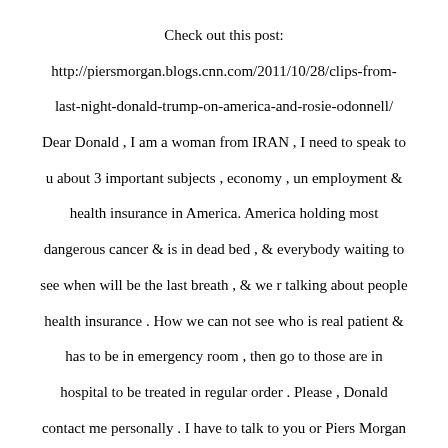Check out this post:
http://piersmorgan.blogs.cnn.com/2011/10/28/clips-from-last-night-donald-trump-on-america-and-rosie-odonnell/
Dear Donald , I am a woman from IRAN , I need to speak to u about 3 important subjects , economy , un employment & health insurance in America. America holding most dangerous cancer & is in dead bed , & everybody waiting to see when will be the last breath , & we r talking about people health insurance . How we can not see who is real patient & has to be in emergency room , then go to those are in hospital to be treated in regular order . Please , Donald contact me personally . I have to talk to you or Piers Morgan ASAP . Email me or call 858-717-0346 thanks my name is Mali
Check out this post:
http://piersmorgan.blogs.cnn.com/2011/10/28/clips-from-last-night-donald-trump-on-america-and-rosie-odonnell/
Dear Donald , I am a woman from IRAN , I need to speak to u about 3 important subjects , economy , un employment & health insurance in America. America holding most dangerous cancer & is in dead bed , & everybody waiting to see when will be the last breath , & we r talking about people health insurance ...